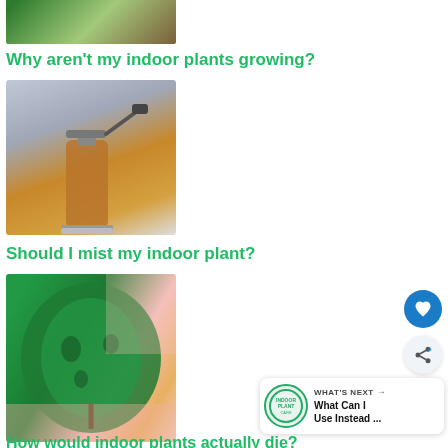[Figure (photo): Top portion of a photo showing indoor plants in pots on a wooden surface]
Why aren't my indoor plants growing?
[Figure (photo): Photo of an amber glass spray bottle on a balcony railing]
Should I mist my indoor plant?
[Figure (photo): Close-up photo of a large Monstera or similar tropical leaf with holes]
[Figure (infographic): WHAT'S NEXT button with badge showing 'What Can I Use Instead ...' link]
How would indoor plants actually die?